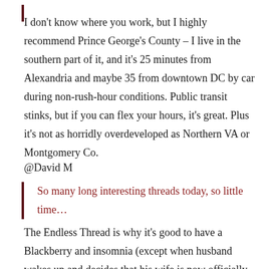I don't know where you work, but I highly recommend Prince George's County – I live in the southern part of it, and it's 25 minutes from Alexandria and maybe 35 from downtown DC by car during non-rush-hour conditions. Public transit stinks, but if you can flex your hours, it's great. Plus it's not as horridly overdeveloped as Northern VA or Montgomery Co.
@David M
So many long interesting threads today, so little time…
The Endless Thread is why it's good to have a Blackberry and insomnia (except when husband wakes up and decides that his wife is now officially around the bend).